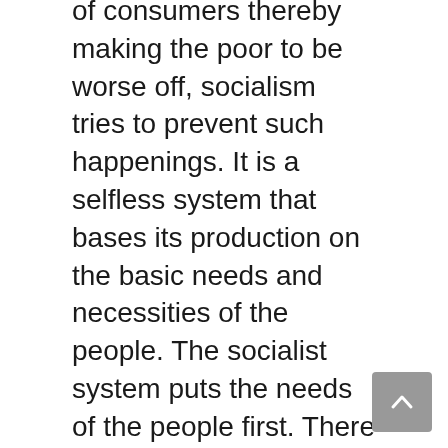of consumers thereby making the poor to be worse off, socialism tries to prevent such happenings. It is a selfless system that bases its production on the basic needs and necessities of the people. The socialist system puts the needs of the people first. There is less reason for people to worry about tomorrow and this leads to an increase in productivity.

Workers under the socialist system are being provided with a conducive working environment to reduce the risks attached to the job as well as creating a comfortable avenue for them. The state takes responsibility for any accident that occurs in the process of one carrying out